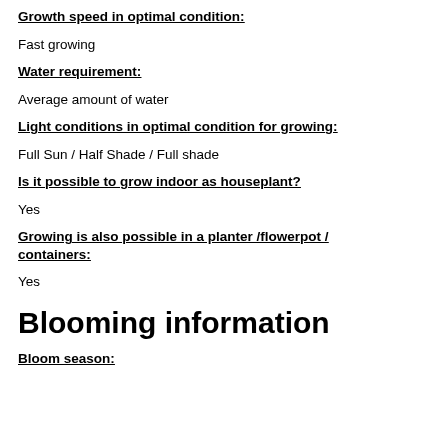Growth speed in optimal condition:
Fast growing
Water requirement:
Average amount of water
Light conditions in optimal condition for growing:
Full Sun / Half Shade / Full shade
Is it possible to grow indoor as houseplant?
Yes
Growing is also possible in a planter /flowerpot / containers:
Yes
Blooming information
Bloom season: